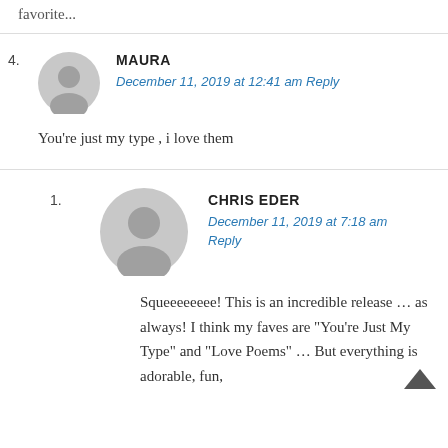favorite...
MAURA
December 11, 2019 at 12:41 am Reply
You're just my type , i love them
CHRIS EDER
December 11, 2019 at 7:18 am Reply
Squeeeeeeee! This is an incredible release … as always! I think my faves are "You're Just My Type" and "Love Poems" … But everything is adorable, fun,